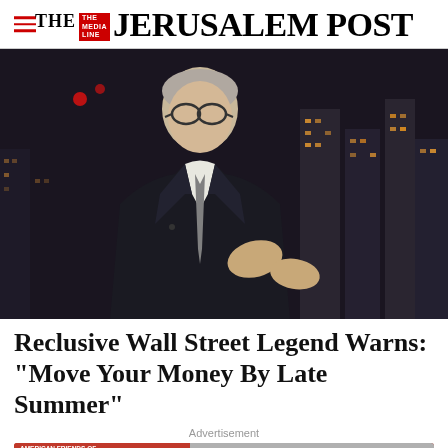THE JERUSALEM POST
[Figure (photo): A man with gray hair and glasses wearing a dark suit and gray tie, gesturing with his hands, with a city skyline at night in the background.]
Reclusive Wall Street Legend Warns: "Move Your Money By Late Summer"
Advertisement
[Figure (infographic): Advertisement banner for American Friends of Magen David Adom with red background, Star of David logo, Hebrew text, and a button saying 'Help us save lives in Israel']